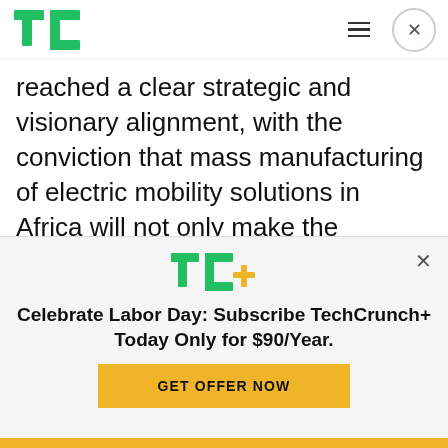TechCrunch
reached a clear strategic and visionary alignment, with the conviction that mass manufacturing of electric mobility solutions in Africa will not only make the products more accessible and affordable, but also lead to one of the largest industrialization and welfare transitions of the region in modern time,” said Opibus’ CEO and co-founder, Filip Gardler
[Figure (logo): TC+ logo with green TC letters and yellow plus sign]
Celebrate Labor Day: Subscribe TechCrunch+ Today Only for $90/Year.
GET OFFER NOW